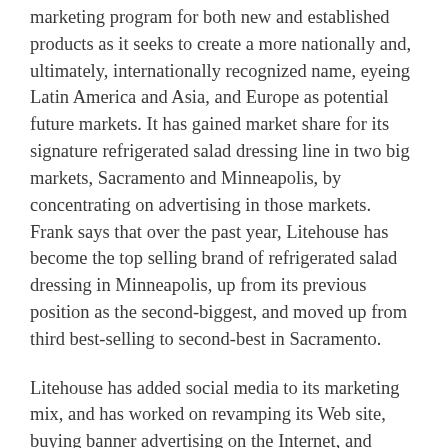marketing program for both new and established products as it seeks to create a more nationally and, ultimately, internationally recognized name, eyeing Latin America and Asia, and Europe as potential future markets. It has gained market share for its signature refrigerated salad dressing line in two big markets, Sacramento and Minneapolis, by concentrating on advertising in those markets. Frank says that over the past year, Litehouse has become the top selling brand of refrigerated salad dressing in Minneapolis, up from its previous position as the second-biggest, and moved up from third best-selling to second-best in Sacramento.
Litehouse has added social media to its marketing mix, and has worked on revamping its Web site, buying banner advertising on the Internet, and adding a